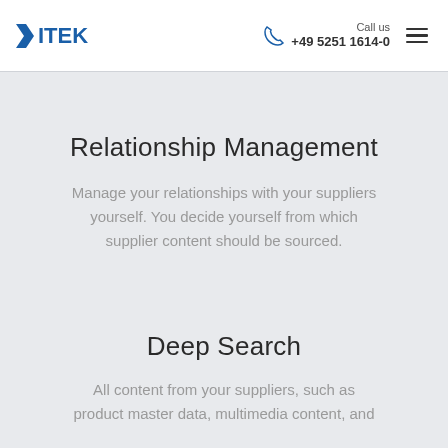VITEK | Call us +49 5251 1614-0
Relationship Management
Manage your relationships with your suppliers yourself. You decide yourself from which supplier content should be sourced.
Deep Search
All content from your suppliers, such as product master data, multimedia content, and